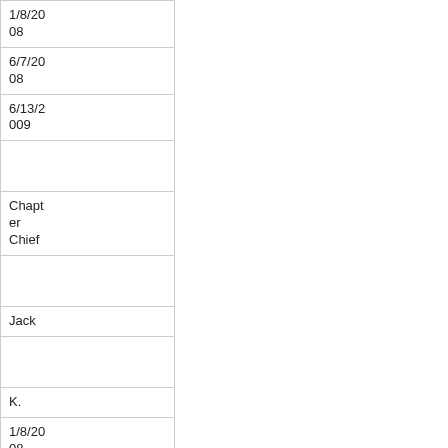| 1/8/2008 |
| 6/7/2008 |
| 6/13/2009 |
|  |
| Chapter Chief |
|  |
| Jack |
|  |
| K. |
| 1/8/2008 |
| 9/13/2008 |
|  |